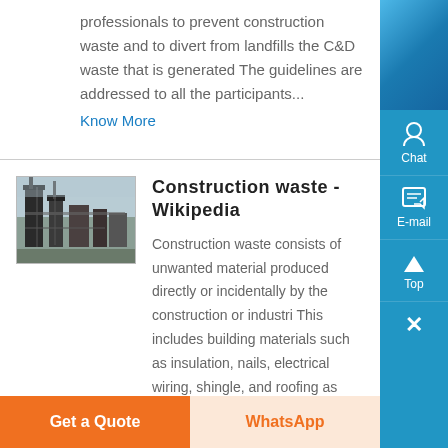professionals to prevent construction waste and to divert from landfills the C&D waste that is generated The guidelines are addressed to all the participants...
Know More
[Figure (photo): Industrial construction or waste processing facility with machinery and structures]
Construction waste - Wikipedia
Construction waste consists of unwanted material produced directly or incidentally by the construction or industri This includes building materials such as insulation, nails, electrical wiring, shingle, and roofing as well as
Get a Quote
WhatsApp